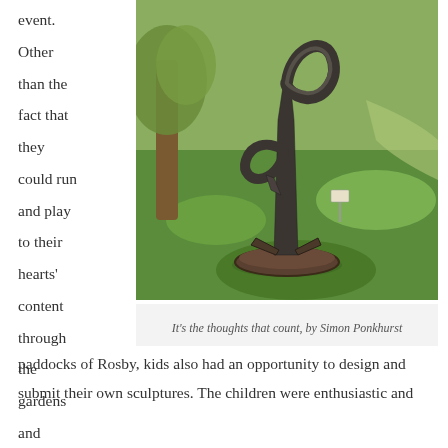event. Other than the fact that they could run and play to their hearts' content through the gardens and
[Figure (photo): A tall abstract metal sculpture in a garden setting with green grass and trees in the background. The sculpture is dark metal with curved flowing forms and a circular element at the top, mounted on a round base.]
It's the thoughts that count, by Simon Ponkhurst
paddocks of Rosby, kids also had an opportunity to design and submit their own sculptures. The children were enthusiastic and